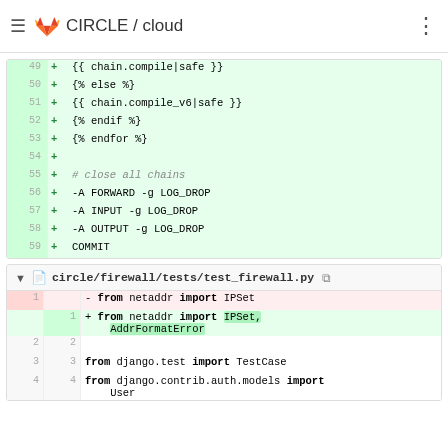CIRCLE / cloud
[Figure (screenshot): Code diff block showing lines 49-59 added (green background): +{{ chain.compile|safe }}, +{% else %}, +{{ chain.compile_v6|safe }}, +{% endif %}, +{% endfor %}, +, +# close all chains, +-A FORWARD -g LOG_DROP, +-A INPUT -g LOG_DROP, +-A OUTPUT -g LOG_DROP, +COMMIT]
circle/firewall/tests/test_firewall.py
[Figure (screenshot): Code diff block for circle/firewall/tests/test_firewall.py showing: line 1 removed: from netaddr import IPSet; line 1 added: from netaddr import IPSet, AddrFormatError (highlighted); lines 2-4 context: blank, from django.test import TestCase, from django.contrib.auth.models import User]